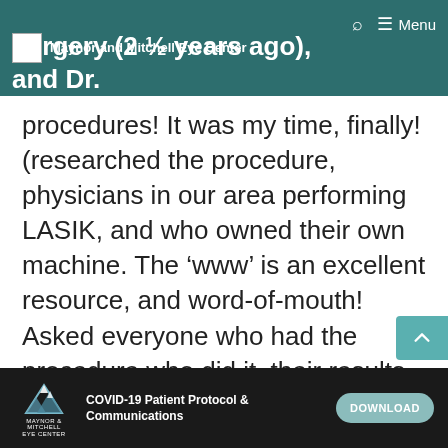Maynor and Mitchell Eye Center | surgery (2 ½ years ago), and Dr. William Mitchell performed over 2,000
procedures! It was my time, finally! (researched the procedure, physicians in our area performing LASIK, and who owned their own machine. The ‘www’ is an excellent resource, and word-of-mouth! Asked everyone who had the procedure who did it, their results, and would they do it again.)
After narrowing the field to Dr.
COVID-19 Patient Protocol & Communications   DOWNLOAD